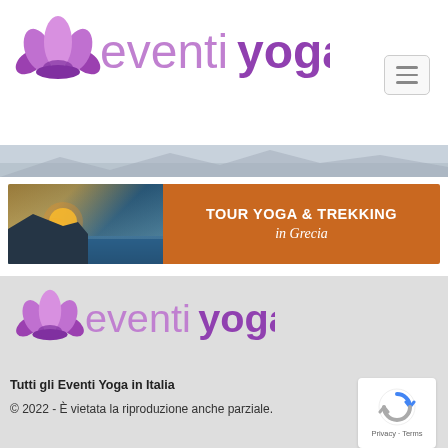[Figure (logo): EventiYoga logo with lotus flower icon and purple text 'eventiyoga']
[Figure (illustration): Hamburger menu button (three horizontal lines) in rounded rectangle]
[Figure (photo): Scenic coastal/seascape banner strip at top]
[Figure (infographic): Advertisement banner: Tour Yoga & Trekking in Grecia - left side scenic sunset photo, right side orange background with white text]
[Figure (logo): EventiYoga logo (smaller) in gray footer section with lotus flower icon and purple text 'eventiyoga']
Tutti gli Eventi Yoga in Italia
© 2022 - È vietata la riproduzione anche parziale.
[Figure (other): Google reCAPTCHA badge showing shield icon with text 'Privacy · Terms']